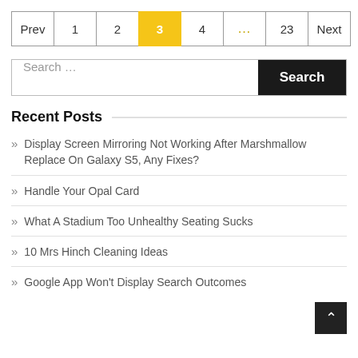Prev 1 2 3 4 ... 23 Next
Search ...
Recent Posts
Display Screen Mirroring Not Working After Marshmallow Replace On Galaxy S5, Any Fixes?
Handle Your Opal Card
What A Stadium Too Unhealthy Seating Sucks
10 Mrs Hinch Cleaning Ideas
Google App Won't Display Search Outcomes